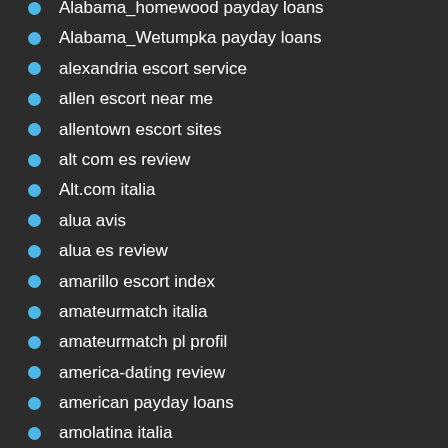Alabama_homewood payday loans
Alabama_Wetumpka payday loans
alexandria escort service
allen escort near me
allentown escort sites
alt com es review
Alt.com italia
alua avis
alua es review
amarillo escort index
amateurmatch italia
amateurmatch pl profil
america-dating review
american payday loans
amolatina italia